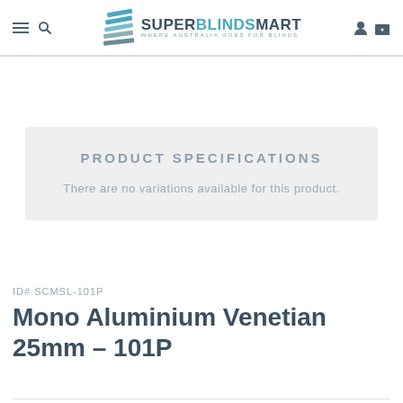[Figure (logo): SuperBlindsMart logo with stylized blind slats icon and text 'SUPERBLINDSMART — WHERE AUSTRALIA GOES FOR BLINDS']
PRODUCT SPECIFICATIONS
There are no variations available for this product.
ID# SCMSL-101P
Mono Aluminium Venetian 25mm – 101P